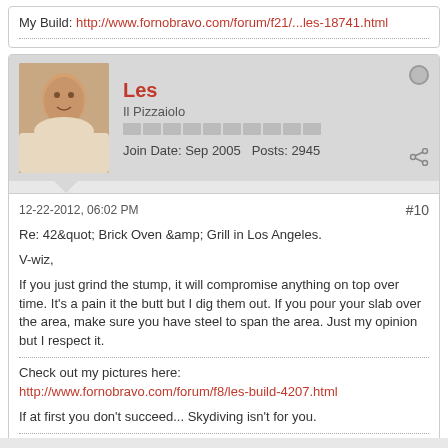My Build: http://www.fornobravo.com/forum/f21/...les-18741.html
Les
Il Pizzaiolo
Join Date: Sep 2005  Posts: 2945
12-22-2012, 06:02 PM
#10
Re: 42&quot; Brick Oven &amp; Grill in Los Angeles.

V-wiz,

If you just grind the stump, it will compromise anything on top over time. It's a pain it the butt but I dig them out. If you pour your slab over the area, make sure you have steel to span the area. Just my opinion but I respect it.

Check out my pictures here:
http://www.fornobravo.com/forum/f8/les-build-4207.html

If at first you don't succeed... Skydiving isn't for you.